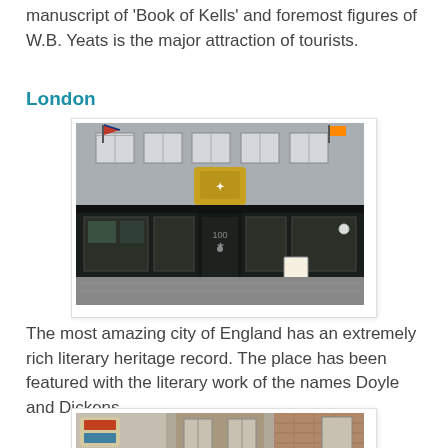manuscript of 'Book of Kells' and foremost figures of W.B. Yeats is the major attraction of tourists.
London
[Figure (photo): Facade of a classic London building with dark shopfront, royal coat of arms above entrance, display windows with books or goods, flags flying, and a sandwich board outside.]
The most amazing city of England has an extremely rich literary heritage record. The place has been featured with the literary work of the names Doyle and Dickens.
[Figure (photo): Street-level view of a London building with windows, brick detail, and shop signage visible.]